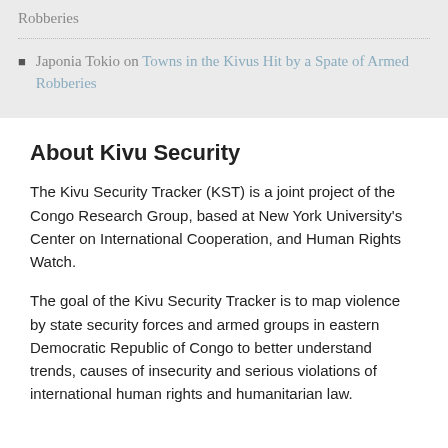Japonia Tokio on Towns in the Kivus Hit by a Spate of Armed Robberies
About Kivu Security
The Kivu Security Tracker (KST) is a joint project of the Congo Research Group, based at New York University’s Center on International Cooperation, and Human Rights Watch.
The goal of the Kivu Security Tracker is to map violence by state security forces and armed groups in eastern Democratic Republic of Congo to better understand trends, causes of insecurity and serious violations of international human rights and humanitarian law.